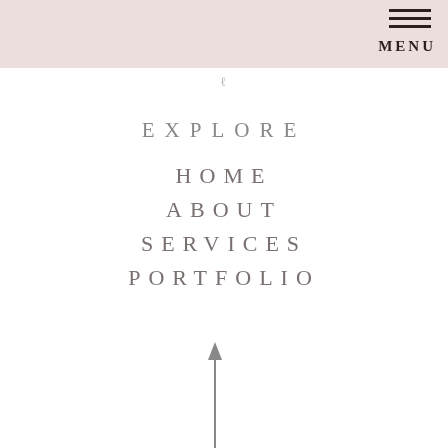MENU
EXPLORE
HOME
ABOUT
SERVICES
PORTFOLIO
[Figure (illustration): Upward pointing arrow icon]